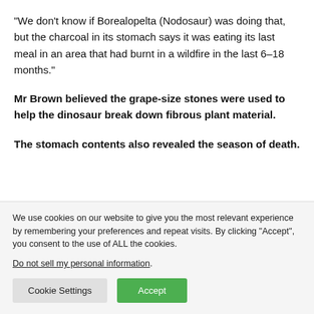“We don’t know if Borealopelta (Nodosaur) was doing that, but the charcoal in its stomach says it was eating its last meal in an area that had burnt in a wildfire in the last 6-18 months.”
Mr Brown believed the grape-size stones were used to help the dinosaur break down fibrous plant material.
The stomach contents also revealed the season of death.
We use cookies on our website to give you the most relevant experience by remembering your preferences and repeat visits. By clicking “Accept”, you consent to the use of ALL the cookies.
Do not sell my personal information.